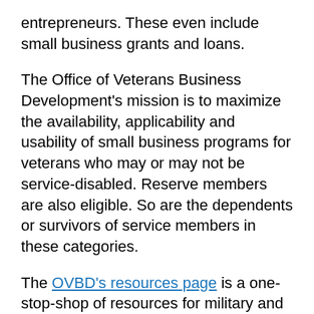entrepreneurs. These even include small business grants and loans.
The Office of Veterans Business Development's mission is to maximize the availability, applicability and usability of small business programs for veterans who may or may not be service-disabled. Reserve members are also eligible. So are the dependents or survivors of service members in these categories.
The OVBD's resources page is a one-stop-shop of resources for military and veteran entrepreneurs.
Veterans Small Business Training Programs
The Service-Disabled Veteran Entrepreneurship